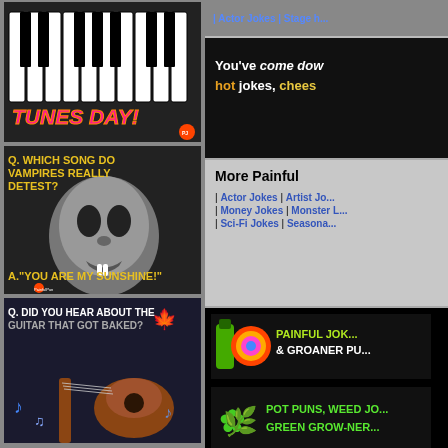[Figure (illustration): Meme image showing piano keys with text 'TUNES DAY!' in pink/orange italic bold font]
[Figure (illustration): Vampire meme: Q. WHICH SONG DO VAMPIRES REALLY DETEST? A. 'YOU ARE MY SUNSHINE!']
[Figure (illustration): Guitar meme: Q. DID YOU HEAR ABOUT THE GUITAR THAT GOT BAKED? with cannabis leaf icon and guitar image]
| Actor Jokes | Stage ...
You've come dow... hot jokes, chees...
More Painful...
| Actor Jokes | Artist Jo... | Money Jokes | Monster L... | Sci-Fi Jokes | Seasona...
[Figure (logo): PAINFUL JOK... & GROANER PU... advertisement with beer bottle and colorful logo]
[Figure (logo): POT PUNS, WEED JO... GREEN GROW-NER... advertisement with cannabis leaf]
Thank...
Join us on soc...